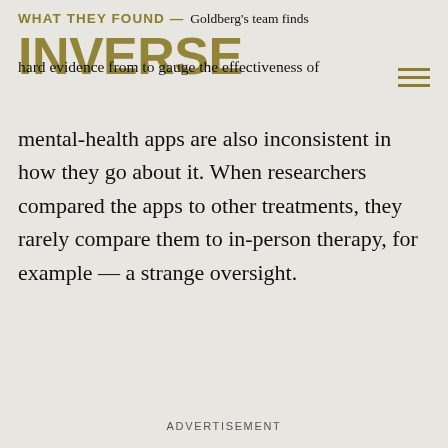WHAT THEY FOUND — Goldberg's team finds hard evidence from to gauge the effectiveness of
mental-health apps are also inconsistent in how they go about it. When researchers compared the apps to other treatments, they rarely compare them to in-person therapy, for example — a strange oversight.
ADVERTISEMENT